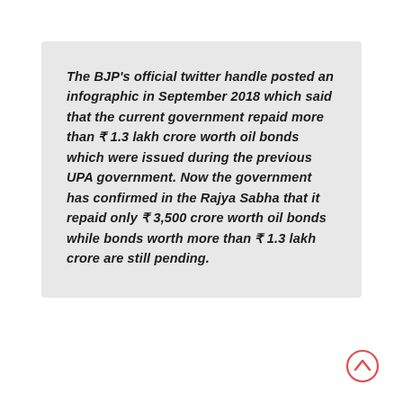The BJP's official twitter handle posted an infographic in September 2018 which said that the current government repaid more than ₹ 1.3 lakh crore worth oil bonds which were issued during the previous UPA government. Now the government has confirmed in the Rajya Sabha that it repaid only ₹ 3,500 crore worth oil bonds while bonds worth more than ₹ 1.3 lakh crore are still pending.
[Figure (other): Scroll-up / chevron-up icon in coral/red circle, bottom right corner]